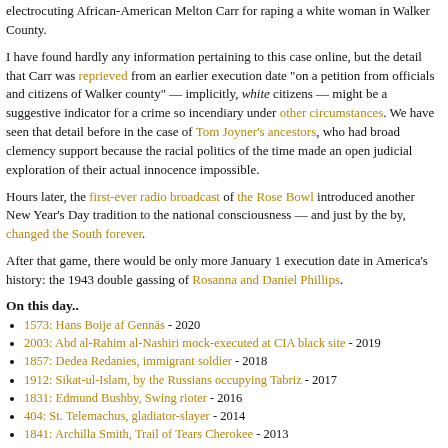electrocuting African-American Melton Carr for raping a white woman in Walker County.
I have found hardly any information pertaining to this case online, but the detail that Carr was reprieved from an earlier execution date "on a petition from officials and citizens of Walker county" — implicitly, white citizens — might be a suggestive indicator for a crime so incendiary under other circumstances. We have seen that detail before in the case of Tom Joyner's ancestors, who had broad clemency support because the racial politics of the time made an open judicial exploration of their actual innocence impossible.
Hours later, the first-ever radio broadcast of the Rose Bowl introduced another New Year's Day tradition to the national consciousness — and just by the by, changed the South forever.
After that game, there would be only more January 1 execution date in America's history: the 1943 double gassing of Rosanna and Daniel Phillips.
On this day..
1573: Hans Boije af Gennäs - 2020
2003: Abd al-Rahim al-Nashiri mock-executed at CIA black site - 2019
1857: Dedea Redanies, immigrant soldier - 2018
1912: Sikat-ul-Islam, by the Russians occupying Tabriz - 2017
1831: Edmund Bushby, Swing rioter - 2016
404: St. Telemachus, gladiator-slayer - 2014
1841: Archilla Smith, Trail of Tears Cherokee - 2013
1943: Rosanna and Daniel Phillips - 2012
1943: Lojze Grozde, beatified Slovenian - 2011
104 B.C.E.: Jugurtha - 2010
1892: Sylvester Henry Bell - 2009
2002: 'Ali bin Hittan bin Sa'id, Muhammad bin Suleyman bin Muhammad, a...